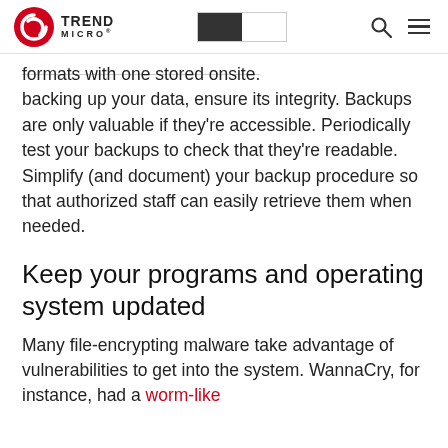Trend Micro
formats with one stored onsite. When backing up your data, ensure its integrity. Backups are only valuable if they're accessible. Periodically test your backups to check that they're readable. Simplify (and document) your backup procedure so that authorized staff can easily retrieve them when needed.
Keep your programs and operating system updated
Many file-encrypting malware take advantage of vulnerabilities to get into the system. WannaCry, for instance, had a worm-like